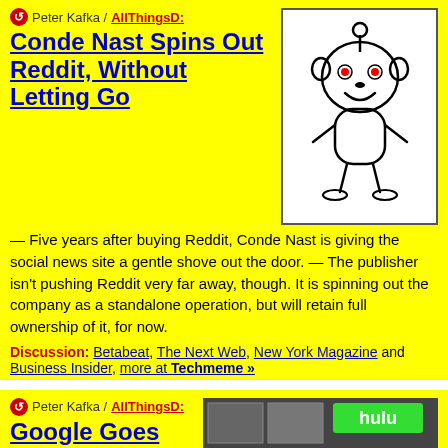Peter Kafka / AllThingsD:
Conde Nast Spins Out Reddit, Without Letting Go
[Figure (illustration): Reddit alien mascot (Snoo) illustration in black and white with red eyes, inside a bordered box]
— Five years after buying Reddit, Conde Nast is giving the social news site a gentle shove out the door. — The publisher isn't pushing Reddit very far away, though. It is spinning out the company as a standalone operation, but will retain full ownership of it, for now.
Discussion: Betabeat, The Next Web, New York Magazine and Business Insider, more at Techmeme »
Peter Kafka / AllThingsD:
Google Goes Big With Its Hulu Bid
[Figure (photo): Photo of a man in a suit standing in front of a Hulu display screen with multiple video thumbnails]
— Hulu's corporate owners are currently mulling bids from three would-be buyers: Amazon, Yahoo, and the Dish Network. — And